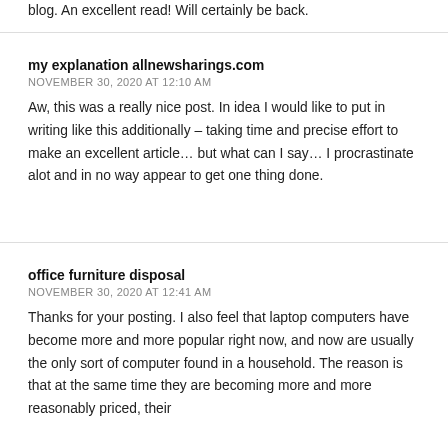blog. An excellent read! Will certainly be back.
my explanation allnewsharings.com
NOVEMBER 30, 2020 AT 12:10 AM
Aw, this was a really nice post. In idea I would like to put in writing like this additionally – taking time and precise effort to make an excellent article… but what can I say… I procrastinate alot and in no way appear to get one thing done.
office furniture disposal
NOVEMBER 30, 2020 AT 12:41 AM
Thanks for your posting. I also feel that laptop computers have become more and more popular right now, and now are usually the only sort of computer found in a household. The reason is that at the same time they are becoming more and more reasonably priced, their